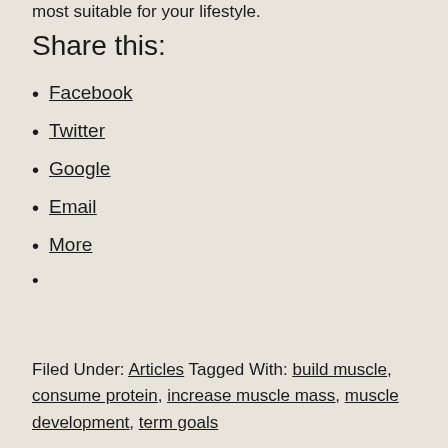most suitable for your lifestyle.
Share this:
Facebook
Twitter
Google
Email
More
Filed Under: Articles Tagged With: build muscle, consume protein, increase muscle mass, muscle development, term goals